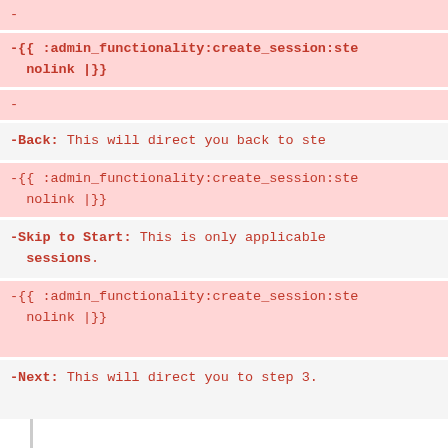-
-{{ :admin_functionality:create_session:ste nolink |}}
-
-**Back:** This will direct you back to ste
-{{ :admin_functionality:create_session:ste nolink |}}
-**Skip to Start:** This is only applicable sessions.
-{{ :admin_functionality:create_session:ste nolink |}}
-**Next:** This will direct you to step 3.